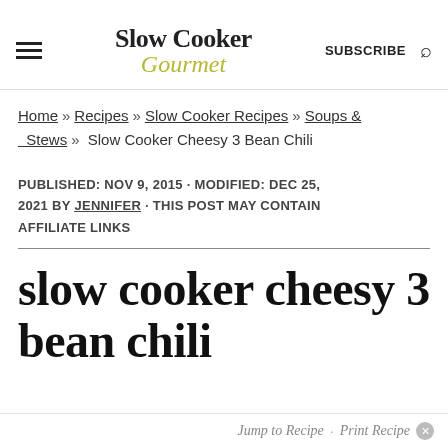Slow Cooker Gourmet — SUBSCRIBE
Home » Recipes » Slow Cooker Recipes » Soups & Stews » Slow Cooker Cheesy 3 Bean Chili
PUBLISHED: NOV 9, 2015 · MODIFIED: DEC 25, 2021 BY JENNIFER · THIS POST MAY CONTAIN AFFILIATE LINKS
slow cooker cheesy 3 bean chili
Jump to Recipe · Print Recipe